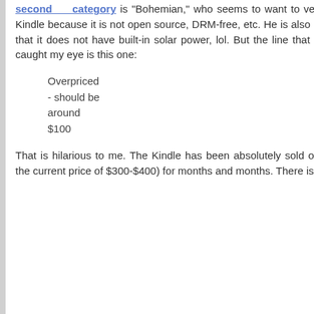second category is "Bohemian," who seems to want to vent on Kindle because it is not open source, DRM-free, etc. He is also upset that it does not have built-in solar power, lol. But the line that really caught my eye is this one:
Overpriced - should be around $100
That is hilarious to me. The Kindle has been absolutely sold out (at the current price of $300-$400) for months and months. There is a